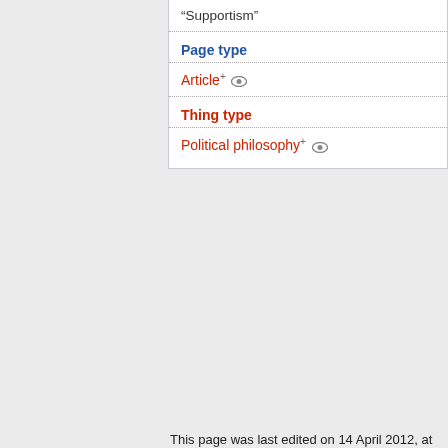"Supportism"
Page type
Article
Thing type
Political philosophy
This page was last edited on 14 April 2012, at 00:38.
Content is available under Creative Commons Attribution-ShareAlike unless otherwise noted.
Privacy policy   About Issuepedia
Disclaimers
[Figure (logo): Creative Commons BY-SA badge]
[Figure (logo): Powered by MediaWiki badge]
[Figure (logo): Semantic MediaWiki badge]